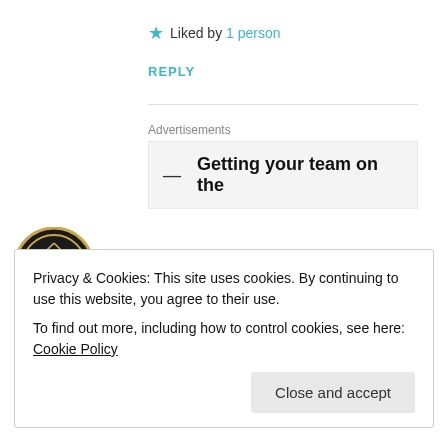★ Liked by 1 person
REPLY
Advertisements
[Figure (other): Advertisement banner with dash and text 'Getting your team on the']
[Figure (logo): markmkane avatar - circular gold and black geometric logo]
markmkane
Privacy & Cookies: This site uses cookies. By continuing to use this website, you agree to their use.
To find out more, including how to control cookies, see here: Cookie Policy
Close and accept
wondering how you did it"